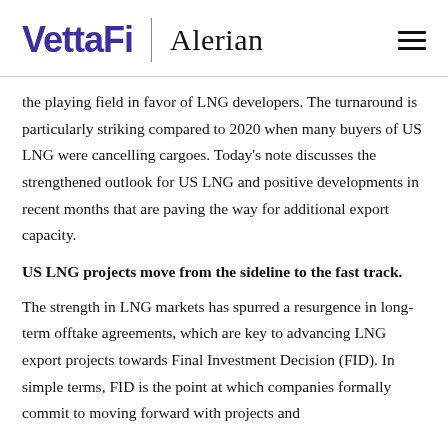VettaFi | Alerian
the playing field in favor of LNG developers. The turnaround is particularly striking compared to 2020 when many buyers of US LNG were cancelling cargoes. Today's note discusses the strengthened outlook for US LNG and positive developments in recent months that are paving the way for additional export capacity.
US LNG projects move from the sideline to the fast track.
The strength in LNG markets has spurred a resurgence in long-term offtake agreements, which are key to advancing LNG export projects towards Final Investment Decision (FID). In simple terms, FID is the point at which companies formally commit to moving forward with projects and